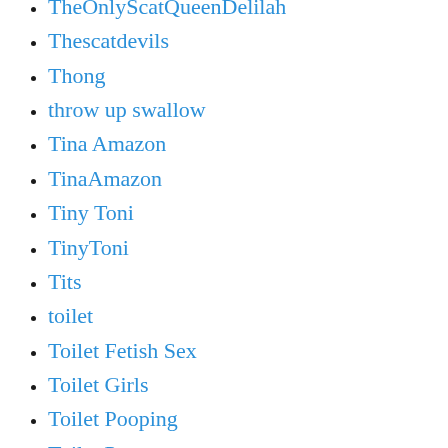TheOnlyScatQueenDelilah
Thescatdevils
Thong
throw up swallow
Tina Amazon
TinaAmazon
Tiny Toni
TinyToni
Tits
toilet
Toilet Fetish Sex
Toilet Girls
Toilet Pooping
Toilet Pov
Toilet Shit
Toilet Slave
Toilet Slavery